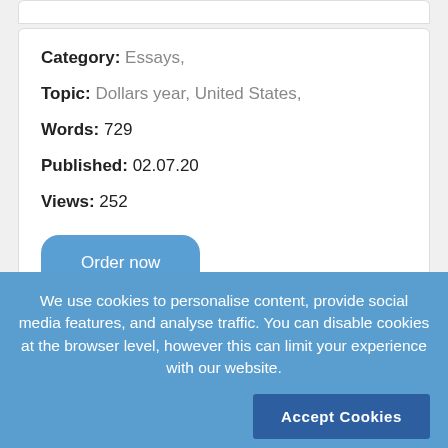Category: Essays,
Topic: Dollars year, United States,
Words: 729
Published: 02.07.20
Views: 252
Order now
We use cookies to personalise content, provide social media features, and analyse traffic. You can disable cookies at the browser level, however this can limit your experience with our website.
Accept Cookies